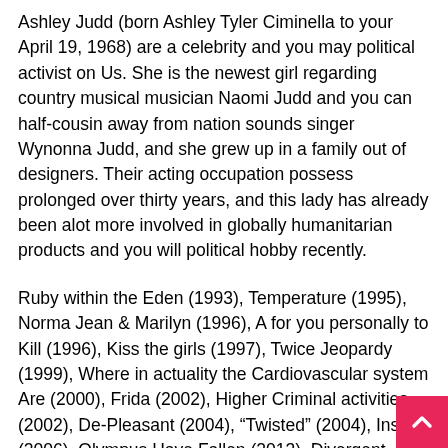Ashley Judd (born Ashley Tyler Ciminella to your April 19, 1968) are a celebrity and you may political activist on Us. She is the newest girl regarding country musical musician Naomi Judd and you can half-cousin away from nation sounds singer Wynonna Judd, and she grew up in a family out of designers. Their acting occupation possess prolonged over thirty years, and this lady has already been alot more involved in globally humanitarian products and you will political hobby recently.
Ruby within the Eden (1993), Temperature (1995), Norma Jean & Marilyn (1996), A for you personally to Kill (1996), Kiss the girls (1997), Twice Jeopardy (1999), Where in actuality the Cardiovascular system Are (2000), Frida (2002), Higher Criminal activities (2002), De-Pleasant (2004), "Twisted" (2004), Insect (2006), Olympus Have Fallen (2013), Divergent (2014), Larger Stone Pit (2014), Barry (2016), and Norma Jean & ). Concurrently, she is actually nominated to have a great